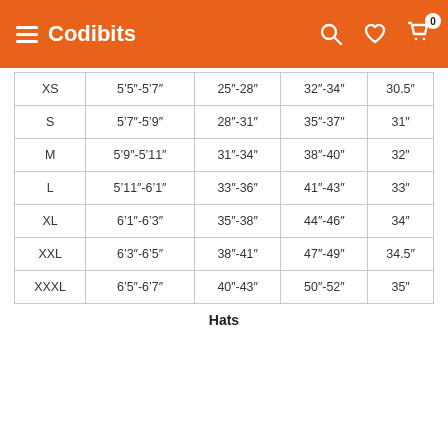Codibits
|  |  |  |  |  |
| --- | --- | --- | --- | --- |
| XS | 5'5"-5'7" | 25"-28" | 32"-34" | 30.5" |
| S | 5'7"-5'9" | 28"-31" | 35"-37" | 31" |
| M | 5'9"-5'11" | 31"-34" | 38"-40" | 32" |
| L | 5'11"-6'1" | 33"-36" | 41"-43" | 33" |
| XL | 6'1"-6'3" | 35"-38" | 44"-46" | 34" |
| XXL | 6'3"-6'5" | 38"-41" | 47"-49" | 34.5" |
| XXXL | 6'5"-6'7" | 40"-43" | 50"-52" | 35" |
Hats